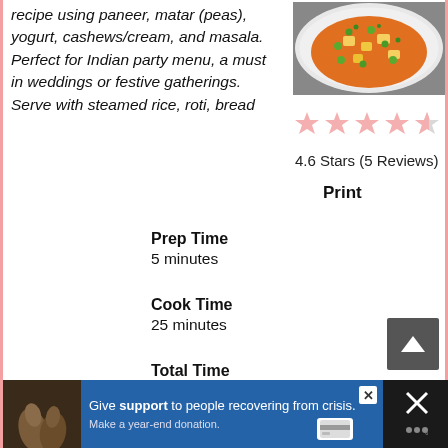recipe using paneer, matar (peas), yogurt, cashews/cream, and masala. Perfect for Indian party menu, a must in weddings or festive gatherings. Serve with steamed rice, roti, bread
[Figure (photo): Overhead photo of paneer matar curry in a white bowl, showing orange curry with green peas and paneer cubes garnished with herbs]
[Figure (other): Star rating display showing 4.6 out of 5 stars in pink/light color]
4.6 Stars (5 Reviews)
Print
Prep Time
5 minutes
Cook Time
25 minutes
Total Time
30 minutes
Give support to people recovering from crisis. Make a year-end donation.